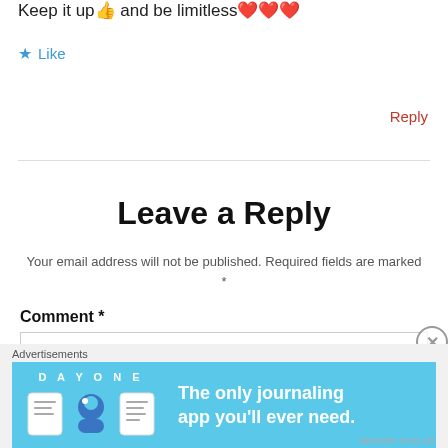Keep it up 👍 and be limitless ❤️❤️❤️
★ Like
Reply
Leave a Reply
Your email address will not be published. Required fields are marked *
Comment *
[Figure (screenshot): Empty comment text input box]
Advertisements
[Figure (infographic): Day One journaling app advertisement banner with icons and text: The only journaling app you'll ever need.]